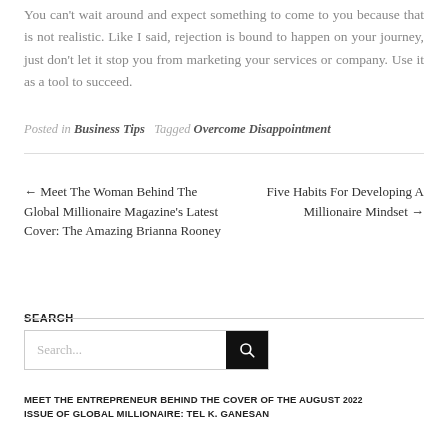You can't wait around and expect something to come to you because that is not realistic. Like I said, rejection is bound to happen on your journey, just don't let it stop you from marketing your services or company. Use it as a tool to succeed.
Posted in Business Tips   Tagged Overcome Disappointment
← Meet The Woman Behind The Global Millionaire Magazine's Latest Cover: The Amazing Brianna Rooney
Five Habits For Developing A Millionaire Mindset →
SEARCH
MEET THE ENTREPRENEUR BEHIND THE COVER OF THE AUGUST 2022 ISSUE OF GLOBAL MILLIONAIRE: TEL K. GANESAN